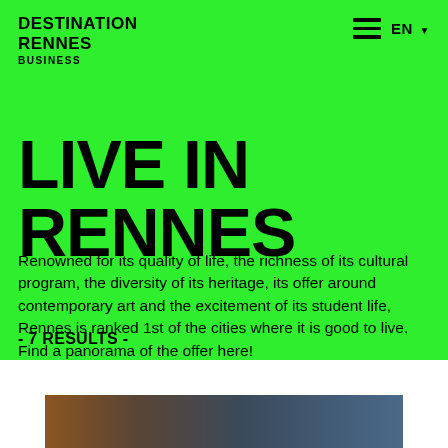DESTINATION RENNES BUSINESS
LIVE IN RENNES
Renowned for its quality of life, the richness of its cultural program, the diversity of its heritage, its offer around contemporary art and the excitement of its student life, Rennes is ranked 1st of the cities where it is good to live. Find a panorama of the offer here!
- 7 RESULTS -
[Figure (photo): Photograph of Rennes cityscape/architecture, partially visible at bottom of page]